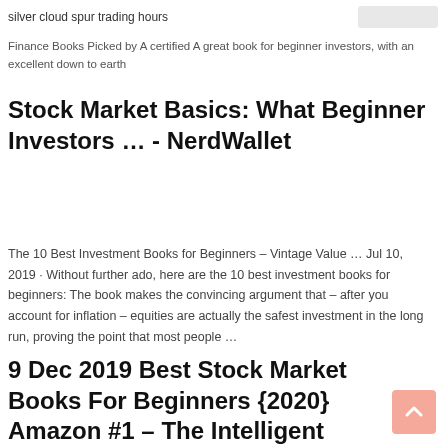silver cloud spur trading hours
Finance Books Picked by A certified A great book for beginner investors, with an excellent down to earth
Stock Market Basics: What Beginner Investors … - NerdWallet
The 10 Best Investment Books for Beginners – Vintage Value … Jul 10, 2019 · Without further ado, here are the 10 best investment books for beginners: The book makes the convincing argument that – after you account for inflation – equities are actually the safest investment in the long run, proving the point that most people …
9 Dec 2019 Best Stock Market Books For Beginners {2020} Amazon #1 – The Intelligent Investor (Revised Edition) Thi...